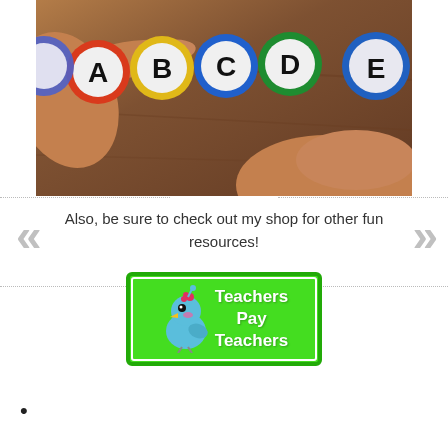[Figure (photo): Child's hands with colorful circular letter tiles spelling A B C D E on a wooden surface]
Also, be sure to check out my shop for other fun resources!
[Figure (logo): Teachers Pay Teachers green logo button with blue bird mascot]
•